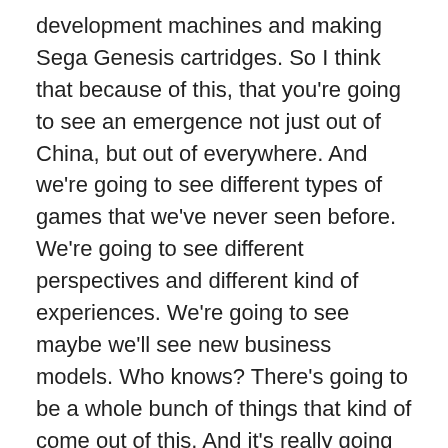development machines and making Sega Genesis cartridges. So I think that because of this, that you're going to see an emergence not just out of China, but out of everywhere. And we're going to see different types of games that we've never seen before. We're going to see different perspectives and different kind of experiences. We're going to see maybe we'll see new business models. Who knows? There's going to be a whole bunch of things that kind of come out of this. And it's really going to be more of a global market than it's ever been. That said, we do have a lot of advantages and name recognition and things like that here in the U.S. in particular in the West. Where we have games and Blizzard and Riot and like all of these giant companies have been around for a long time that have this advantage of being able to reach an audience that isn't going to go away is continuing to grow here in the US and all around the world and are kind of like...